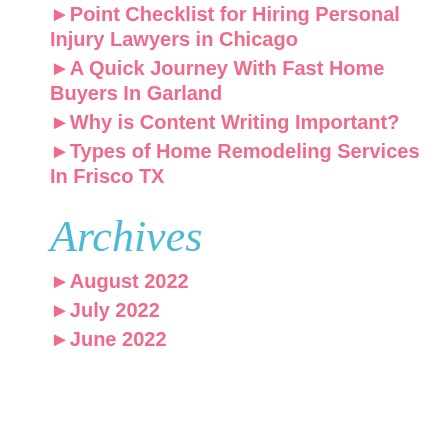►Point Checklist for Hiring Personal Injury Lawyers in Chicago
►A Quick Journey With Fast Home Buyers In Garland
►Why is Content Writing Important?
►Types of Home Remodeling Services In Frisco TX
Archives
►August 2022
►July 2022
►June 2022